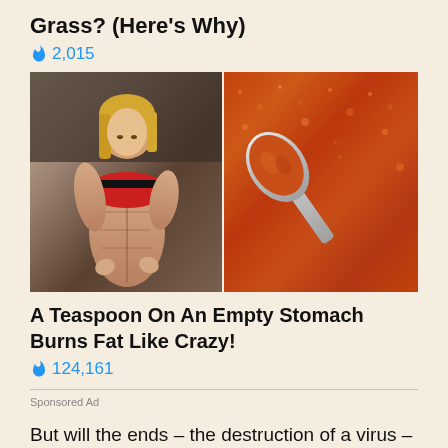Grass? (Here's Why)
🔥 2,015
[Figure (photo): Composite image: left side shows a lean muscular woman in black and red sports top lifting shirt to show abs; right side shows a spoon with orange-red spice powder, with text 'dsp 1' visible at top right.]
A Teaspoon On An Empty Stomach Burns Fat Like Crazy!
🔥 124,161
Sponsored Ad
But will the ends – the destruction of a virus –